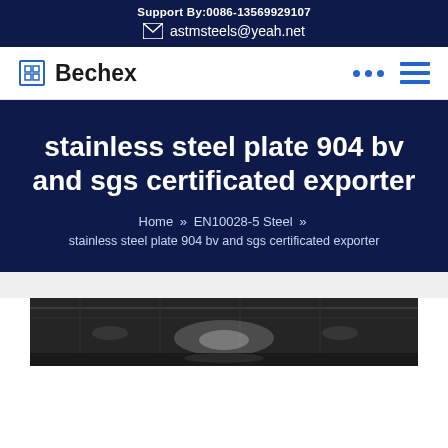Support By:0086-13569929107
astmsteels@yeah.net
Bechex
stainless steel plate 904 bv and sgs certificated exporter
Home » EN10028-5 Steel » stainless steel plate 904 bv and sgs certificated exporter
[Figure (photo): Interior of a large industrial warehouse or steel facility with overhead lighting]